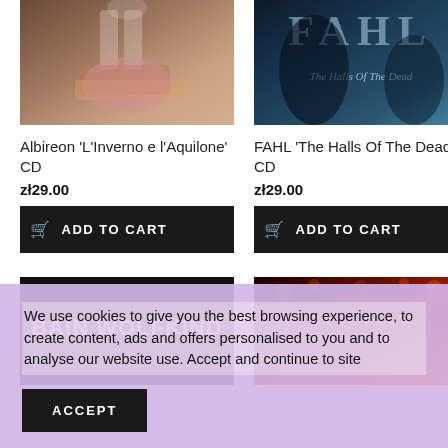[Figure (photo): Album cover for Albireon 'L'Inverno e l'Aquilone' CD - artistic photo with warm tones]
[Figure (photo): Album cover for FAHL 'The Halls Of The Dead' CD - dark blue tones with text overlay]
Albireon 'L'Inverno e l'Aquilone' CD
zł29.00
ADD TO CART
FAHL 'The Halls Of The Dead' CD
zł29.00
ADD TO CART
[Figure (photo): Album cover for Bain Wolfkind - black background with bold white text 'BAIN WOLFKIND']
[Figure (photo): Another album cover - dark red/orange tones]
We use cookies to give you the best browsing experience, to create content, ads and offers personalised to you and to analyse our website use. Accept and continue to site
ACCEPT